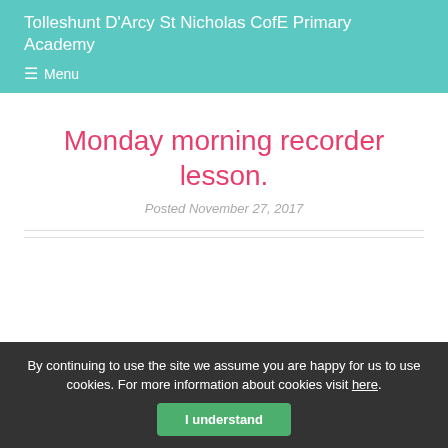Tolleshunt D'Arcy St Nicholas CofE Primary Academy
☰ Menu
Monday morning recorder lesson.
Posted November 27, 2017
By continuing to use the site we assume you are happy for us to use cookies. For more information about cookies visit here.
I understand